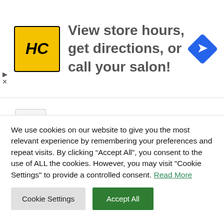[Figure (infographic): Advertisement banner: HC logo (yellow square with HC letters) and text 'View store hours, get directions, or call your salon!' with a blue navigation/directions diamond icon on the right.]
DISCLAIMER: The comments on this page do not necessarily reflect the views of DominicaNewsOnline.com/Duravision Inc. All comments are approved by DominicaNewsOnline.com before they are posted. We never censor based on political or ideological points of view, but we do try to maintain a sensible balance between free speech and responsible moderating.
We use cookies on our website to give you the most relevant experience by remembering your preferences and repeat visits. By clicking “Accept All”, you consent to the use of ALL the cookies. However, you may visit "Cookie Settings" to provide a controlled consent. Read More